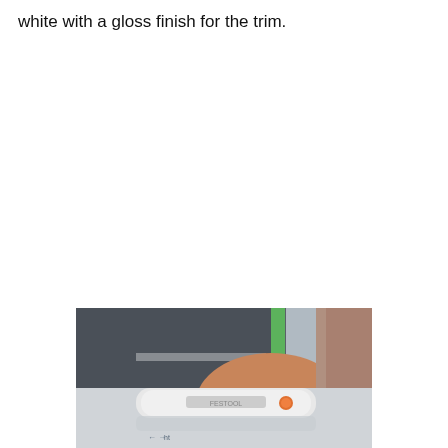white with a gloss finish for the trim.
[Figure (photo): A person's hand holding a round sanding/polishing tool against a surface with green masking tape, near a car window or panel.]
[Figure (photo): Bottom portion of a polishing/sanding tool on a reflective surface, partially visible.]